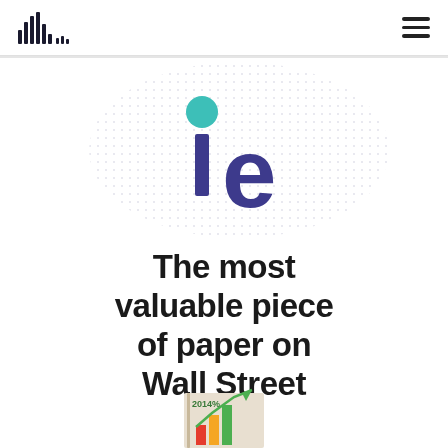[Figure (logo): IE Business School logo — stylized lowercase 'ie' with teal dot above the 'i' on a dotted background]
The most valuable piece of paper on Wall Street
[Figure (illustration): Partial illustration of a financial report booklet showing bar charts and '2014%' with a green upward arrow]